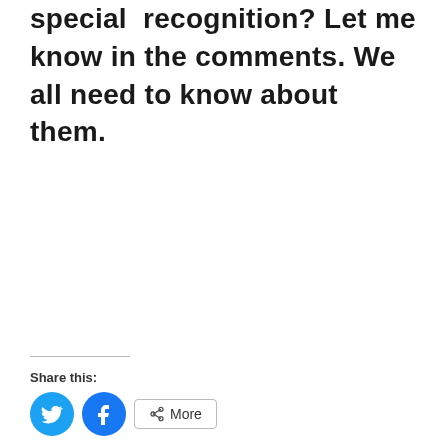special recognition? Let me know in the comments. We all need to know about them.
Share this:
[Figure (other): Social share buttons: Twitter (blue circle), Facebook (blue circle), and More button with share icon]